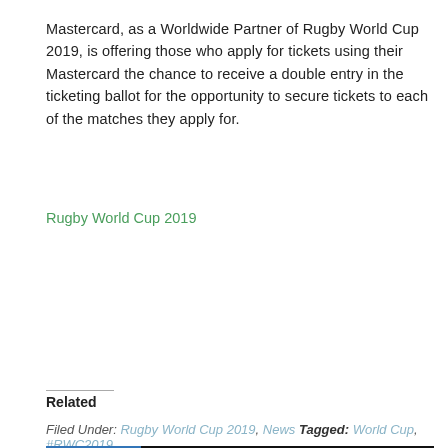Mastercard, as a Worldwide Partner of Rugby World Cup 2019, is offering those who apply for tickets using their Mastercard the chance to receive a double entry in the ticketing ballot for the opportunity to secure tickets to each of the matches they apply for.
Rugby World Cup 2019
Related
Filed Under: Rugby World Cup 2019, News Tagged: World Cup, #RWC2019
[Figure (photo): Banner advertisement for Rhino showing 'SAVE UP TO' text on dark background with blue Rhino logo panel on left]